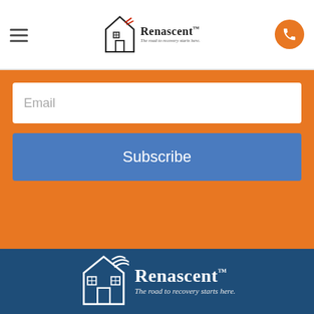[Figure (logo): Renascent logo with house icon and text 'Renascent - The road to recovery starts here.' in the top navigation bar]
Email
Subscribe
[Figure (logo): Large white Renascent logo on dark blue background with house illustration and text 'Renascent - The road to recovery starts here.']
Get in touch
Reach out to us here at Renascent to lend a helping hand or for more information about our programs and services.